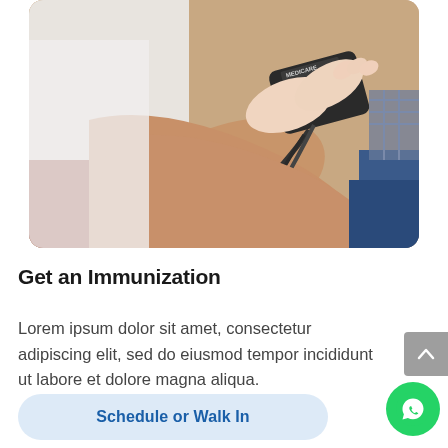[Figure (photo): A healthcare professional applying a blood pressure cuff to a patient's arm. The cuff has 'MEDICARE' text visible. The patient is wearing jeans and a checkered shirt.]
Get an Immunization
Lorem ipsum dolor sit amet, consectetur adipiscing elit, sed do eiusmod tempor incididunt ut labore et dolore magna aliqua.
Schedule or Walk In